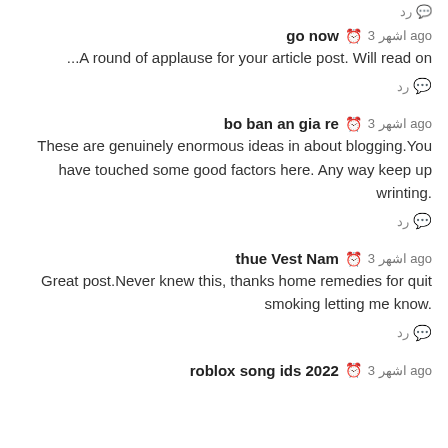رد 💬
go now  🕐 3 اشهر ago
...A round of applause for your article post. Will read on
رد 💬
bo ban an gia re  🕐 3 اشهر ago
These are genuinely enormous ideas in about blogging.You have touched some good factors here. Any way keep up wrinting.
رد 💬
thue Vest Nam  🕐 3 اشهر ago
Great post.Never knew this, thanks home remedies for quit smoking letting me know.
رد 💬
roblox song ids 2022  🕐 3 اشهر ago